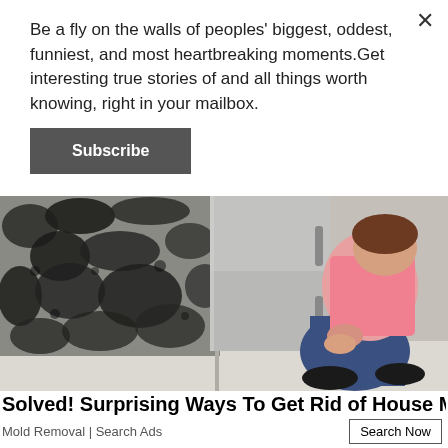Be a fly on the walls of peoples' biggest, oddest, funniest, and most heartbreaking moments.Get interesting true stories of and all things worth knowing, right in your mailbox.
Subscribe
[Figure (photo): Woman crouching beside a refrigerator, looking at a wall heavily covered in black mold in a kitchen.]
Solved! Surprising Ways To Get Rid of House Mold
Mold Removal | Search Ads
Search Now